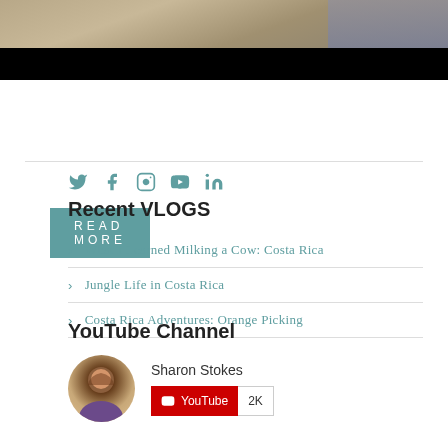[Figure (photo): Partial photo at top of page showing outdoors scene, with black letterbox bar at bottom]
READ MORE
[Figure (infographic): Social media icons: Twitter, Facebook, Instagram, YouTube, LinkedIn in teal color]
Recent VLOGS
What I Learned Milking a Cow: Costa Rica
Jungle Life in Costa Rica
Costa Rica Adventures: Orange Picking
YouTube Channel
[Figure (other): Sharon Stokes YouTube channel widget with avatar photo, name and subscribe button showing 2K subscribers]